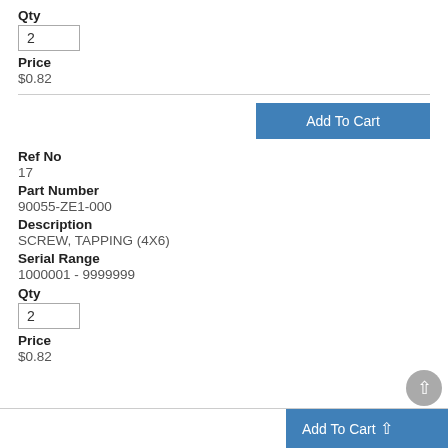Qty
2
Price
$0.82
Add To Cart
Ref No
17
Part Number
90055-ZE1-000
Description
SCREW, TAPPING (4X6)
Serial Range
1000001 - 9999999
Qty
2
Price
$0.82
Add To Cart